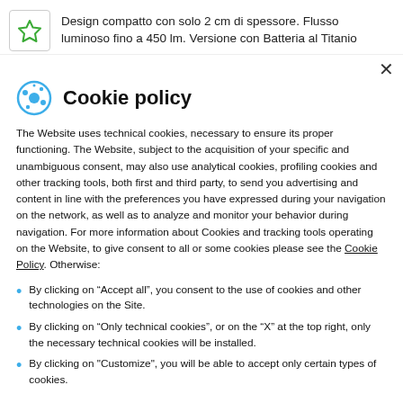Design compatto con solo 2 cm di spessore. Flusso luminoso fino a 450 lm. Versione con Batteria al Titanio
Cookie policy
The Website uses technical cookies, necessary to ensure its proper functioning. The Website, subject to the acquisition of your specific and unambiguous consent, may also use analytical cookies, profiling cookies and other tracking tools, both first and third party, to send you advertising and content in line with the preferences you have expressed during your navigation on the network, as well as to analyze and monitor your behavior during navigation. For more information about Cookies and tracking tools operating on the Website, to give consent to all or some cookies please see the Cookie Policy. Otherwise:
By clicking on “Accept all”, you consent to the use of cookies and other technologies on the Site.
By clicking on “Only technical cookies”, or on the “X” at the top right, only the necessary technical cookies will be installed.
By clicking on "Customize", you will be able to accept only certain types of cookies.